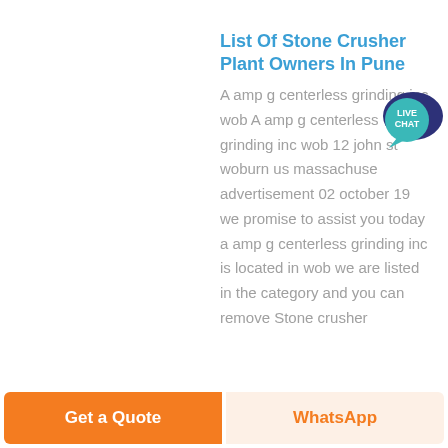List Of Stone Crusher Plant Owners In Pune
A amp g centerless grinding inc wob A amp g centerless grinding inc wob 12 john st woburn us massachuse advertisement 02 october 19 we promise to assist you today a amp g centerless grinding inc is located in wob we are listed in the category and you can remove Stone crusher
[Figure (other): Live Chat speech bubble icon with teal background and white text reading LIVE CHAT]
Get a Quote
WhatsApp